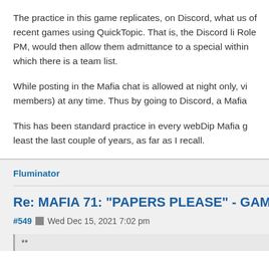The practice in this game replicates, on Discord, what us of recent games using QuickTopic. That is, the Discord li Role PM, would then allow them admittance to a special within which there is a team list.
While posting in the Mafia chat is allowed at night only, vi members) at any time. Thus by going to Discord, a Mafia
This has been standard practice in every webDip Mafia g least the last couple of years, as far as I recall.
Fluminator
Re: MAFIA 71: "PAPERS PLEASE" - GAME THRE
#549  Wed Dec 15, 2021 7:02 pm